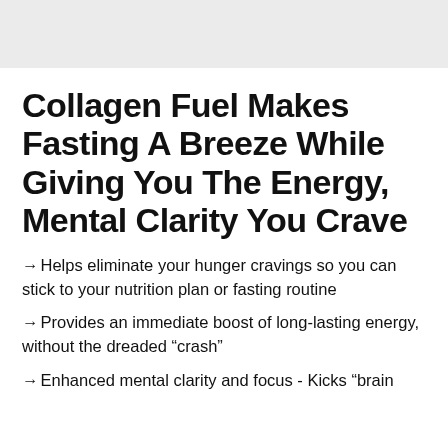Collagen Fuel Makes Fasting A Breeze While Giving You The Energy, Mental Clarity You Crave
→ Helps eliminate your hunger cravings so you can stick to your nutrition plan or fasting routine
→ Provides an immediate boost of long-lasting energy, without the dreaded “crash”
→ Enhanced mental clarity and focus - Kicks “brain